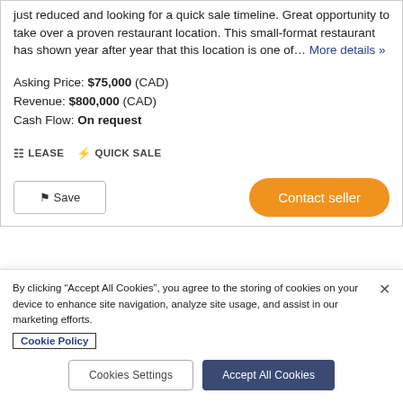just reduced and looking for a quick sale timeline. Great opportunity to take over a proven restaurant location. This small-format restaurant has shown year after year that this location is one of… More details »
Asking Price: $75,000 (CAD)
Revenue: $800,000 (CAD)
Cash Flow: On request
LEASE  QUICK SALE
Save  Contact seller
By clicking "Accept All Cookies", you agree to the storing of cookies on your device to enhance site navigation, analyze site usage, and assist in our marketing efforts.
Cookie Policy
Cookies Settings  Accept All Cookies